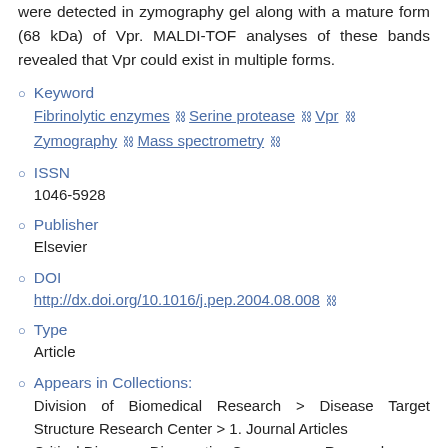were detected in zymography gel along with a mature form (68 kDa) of Vpr. MALDI-TOF analyses of these bands revealed that Vpr could exist in multiple forms.
Keyword: Fibrinolytic enzymes, Serine protease, Vpr, Zymography, Mass spectrometry
ISSN: 1046-5928
Publisher: Elsevier
DOI: http://dx.doi.org/10.1016/j.pep.2004.08.008
Type: Article
Appears in Collections: Division of Biomedical Research > Disease Target Structure Research Center > 1. Journal Articles; Critical Diseases Diagnostics Convergence Research